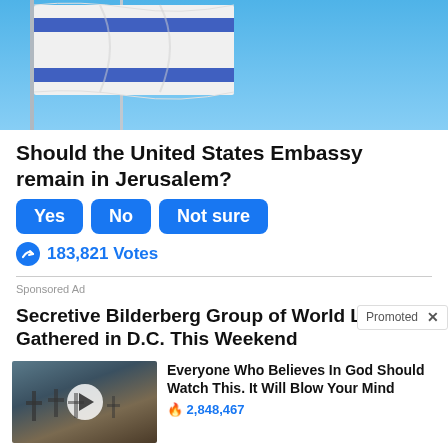[Figure (photo): Israeli flag waving against blue sky background]
Should the United States Embassy remain in Jerusalem?
Yes  No  Not sure
183,821 Votes
Sponsored Ad
Secretive Bilderberg Group of World Leaders Gathered in D.C. This Weekend
Promoted X
[Figure (photo): Graveyard with crosses at dusk, video thumbnail with play button]
Everyone Who Believes In God Should Watch This. It Will Blow Your Mind
2,848,467
[Figure (photo): Close-up medical/body image]
What They Didn't Want You Knowing About Metformin
205,179